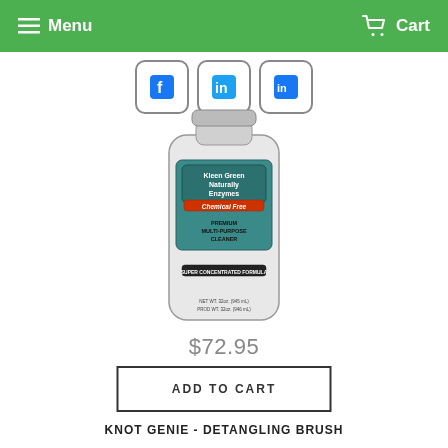Menu  Cart
[Figure (photo): A bottle of Kleen Green Naturally Enzymes Chemical Free Premium Multi-Purpose Cleaner, a white cylindrical container with a green and teal label.]
$72.95
ADD TO CART
KNOT GENIE - DETANGLING BRUSH